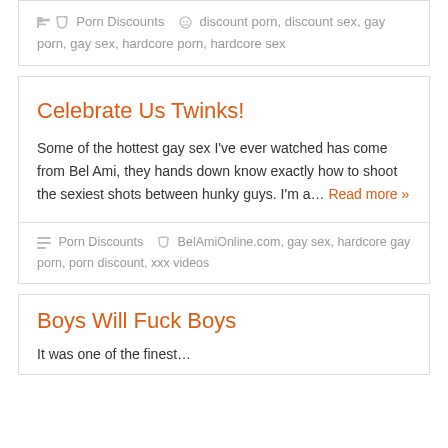exceed... Read more »
Porn Discounts   discount porn, discount sex, gay porn, gay sex, hardcore porn, hardcore sex
Celebrate Us Twinks!
Some of the hottest gay sex I've ever watched has come from Bel Ami, they hands down know exactly how to shoot the sexiest shots between hunky guys. I'm a... Read more »
Porn Discounts   BelAmiOnline.com, gay sex, hardcore gay porn, porn discount, xxx videos
Boys Will Fuck Boys